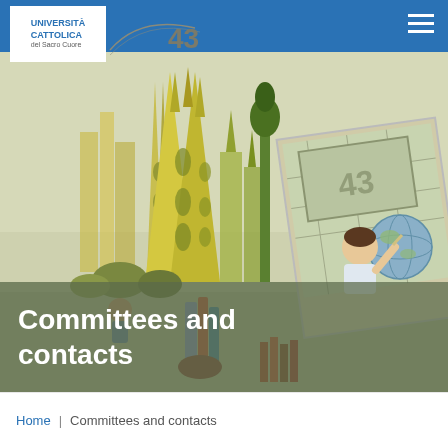Università Cattolica del Sacro Cuore | 43
[Figure (illustration): Illustration of stylized city skyline buildings in yellow and green tones on the left, and an animated cartoon child writing at a chalkboard with a globe on the right. Page number 43 visible in the background.]
Committees and contacts
Home  |  Committees and contacts